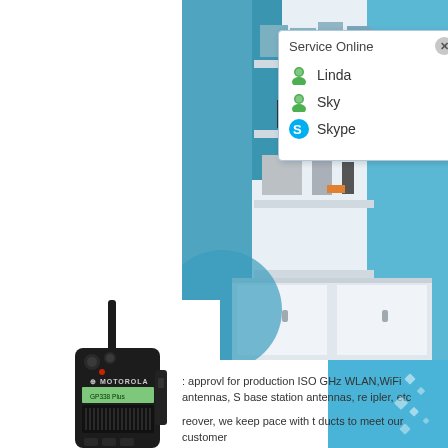[Figure (photo): A Motorola GP338 Plus walkie-talkie/two-way radio, black, shown upright with antenna extended]
[Figure (photo): Interior of a shop/showroom with blue walls, glass shelves displaying products including antennas and accessories]
[Figure (screenshot): Service Online chat popup with options: Linda, Sky (with green MSN-style contact icons), and Skype]
: approvl for production ISO GHz WLAN,WiFi antennas, S base station antennas, re ipler, etc
reover, we keep pace with t ducts to meet our customer